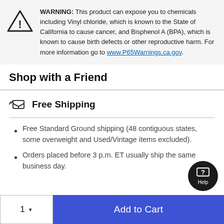WARNING: This product can expose you to chemicals including Vinyl chloride, which is known to the State of California to cause cancer, and Bisphenol A (BPA), which is known to cause birth defects or other reproductive harm. For more information go to www.P65Warnings.ca.gov.
Shop with a Friend
Free Shipping
Free Standard Ground shipping (48 contiguous states, some overweight and Used/Vintage items excluded).
Orders placed before 3 p.m. ET usually ship the same business day.